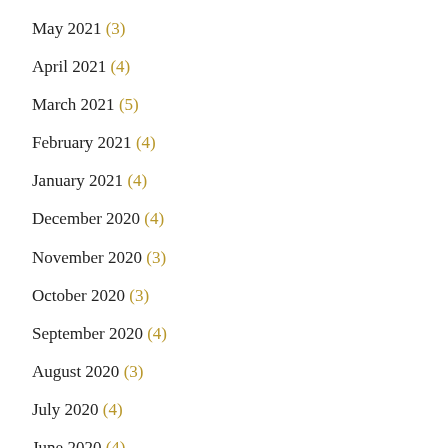May 2021 (3)
April 2021 (4)
March 2021 (5)
February 2021 (4)
January 2021 (4)
December 2020 (4)
November 2020 (3)
October 2020 (3)
September 2020 (4)
August 2020 (3)
July 2020 (4)
June 2020 (4)